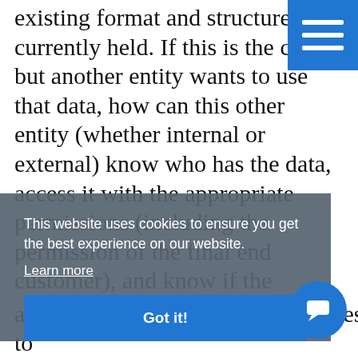existing format and structure it is currently held. If this is the case, but another entity wants to use that data, how can this other entity (whether internal or external) know who has the data, access it with the appropriate permissions (including the permission of the final end customer), and know if the
[Figure (other): Blue hamburger menu button in top-right corner with three white horizontal lines]
[Figure (screenshot): Cookie consent overlay: grey translucent panel with text 'This website uses cookies to ensure you get the best experience on our website.' and 'Learn more' link and blue 'Got it!' button]
and the formats that each entity uses to